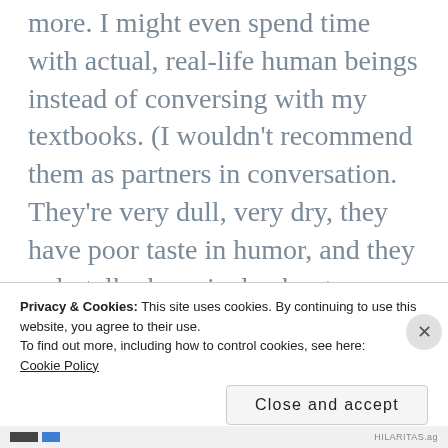more. I might even spend time with actual, real-life human beings instead of conversing with my textbooks. (I wouldn't recommend them as partners in conversation. They're very dull, very dry, they have poor taste in humor, and they only talk obsessively about one topic.) I might take up a new hobby, go on an adventure, who knows? I'd really like to have time to just sit and think (aka
Privacy & Cookies: This site uses cookies. By continuing to use this website, you agree to their use.
To find out more, including how to control cookies, see here: Cookie Policy
Close and accept